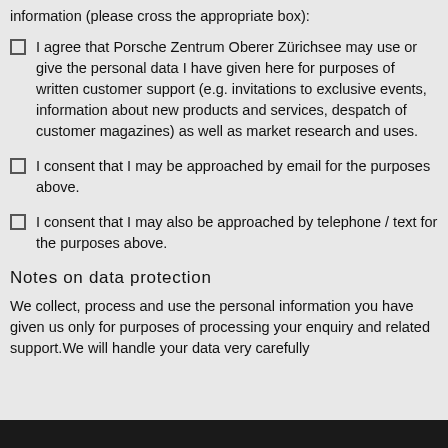information (please cross the appropriate box):
I agree that Porsche Zentrum Oberer Zürichsee may use or give the personal data I have given here for purposes of written customer support (e.g. invitations to exclusive events, information about new products and services, despatch of customer magazines) as well as market research and uses.
I consent that I may be approached by email for the purposes above.
I consent that I may also be approached by telephone / text for the purposes above.
Notes on data protection
We collect, process and use the personal information you have given us only for purposes of processing your enquiry and related support.We will handle your data very carefully